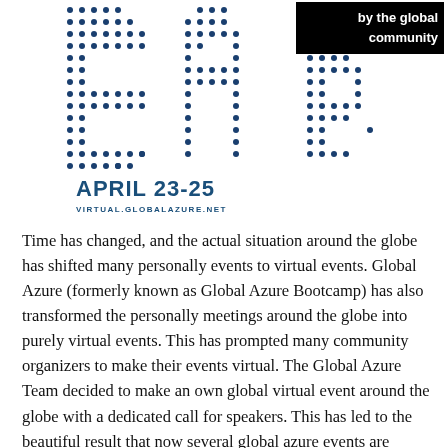[Figure (logo): Global Azure virtual event logo made of dot patterns forming letters, with 'by the global community' in black box top right, 'APRIL 23-25' in bold blue, and 'VIRTUAL.GLOBALAZURE.NET' below.]
Time has changed, and the actual situation around the globe has shifted many personally events to virtual events. Global Azure (formerly known as Global Azure Bootcamp) has also transformed the personally meetings around the globe into purely virtual events. This has prompted many community organizers to make their events virtual. The Global Azure Team decided to make an own global virtual event around the globe with a dedicated call for speakers. This has led to the beautiful result that now several global azure events are taking place simultaneously. Some are organized by local organizers and one event is organized by the Global Azure Team. This results in three Azure days of Azure sessions (Thursday to Saturday) around the globe with an awesome agenda, where you can pick